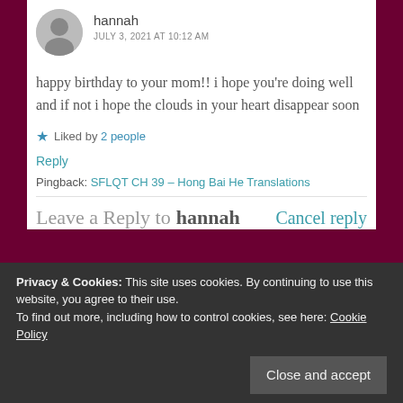hannah
JULY 3, 2021 AT 10:12 AM
happy birthday to your mom!! i hope you're doing well and if not i hope the clouds in your heart disappear soon
Liked by 2 people
Reply
Pingback: SFLQT CH 39 – Hong Bai He Translations
Leave a Reply to hannah
Cancel reply
Privacy & Cookies: This site uses cookies. By continuing to use this website, you agree to their use. To find out more, including how to control cookies, see here: Cookie Policy
Close and accept